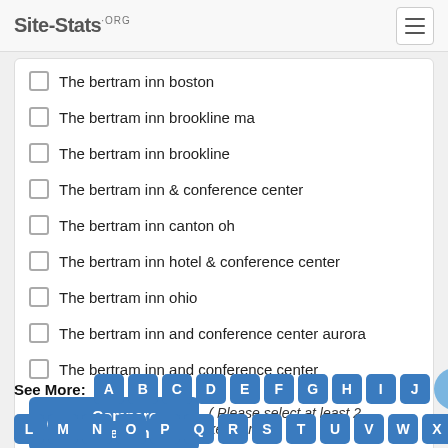Site-Stats.ORG
The bertram inn boston
The bertram inn brookline ma
The bertram inn brookline
The bertram inn & conference center
The bertram inn canton oh
The bertram inn hotel & conference center
The bertram inn ohio
The bertram inn and conference center aurora
The bertram inn and conference center
Compare Search ( Please select at least 2 keywords )
See More: A B C D E F G H I J K L M N O P Q R S T U V W X Y Z